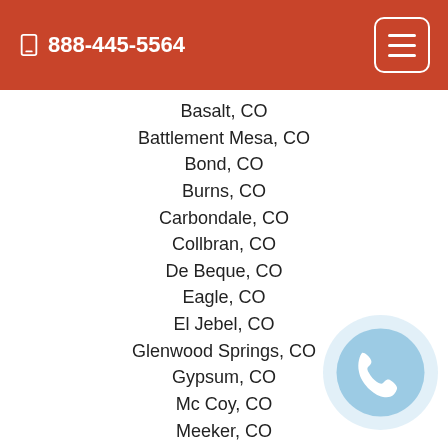888-445-5564
Basalt, CO
Battlement Mesa, CO
Bond, CO
Burns, CO
Carbondale, CO
Collbran, CO
De Beque, CO
Eagle, CO
El Jebel, CO
Glenwood Springs, CO
Gypsum, CO
Mc Coy, CO
Meeker, CO
Mesa, CO
Molina, CO
New Castle, CO
Paonia, CO
Parachute, CO